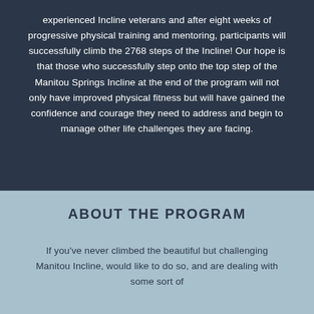experienced Incline veterans and after eight weeks of progressive physical training and mentoring, participants will successfully climb the 2768 steps of the Incline! Our hope is that those who successfully step onto the top step of the Manitou Springs Incline at the end of the program will not only have improved physical fitness but will have gained the confidence and courage they need to address and begin to manage other life challenges they are facing.
ABOUT THE PROGRAM
If you've never climbed the beautiful but challenging Manitou Incline, would like to do so, and are dealing with some sort of